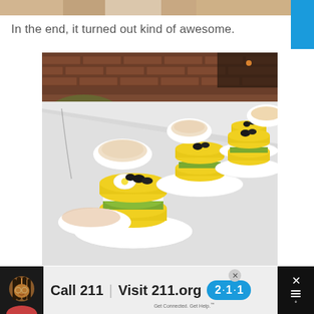[Figure (photo): Partial top strip showing food items being held on a plate, cropped at the top of the page]
In the end, it turned out kind of awesome.
[Figure (photo): A long white table in a restaurant with multiple plates, each containing a yellow layered causa (Peruvian dish) topped with black olives and a hard-boiled egg slice, with bowls of ceviche in the background, brick wall visible behind]
[Figure (photo): Advertisement banner at bottom: a woman with braids on dark background, Call 211 | Visit 211.org with blue 2·1·1 badge logo, close button, and weather/signal icon on right]